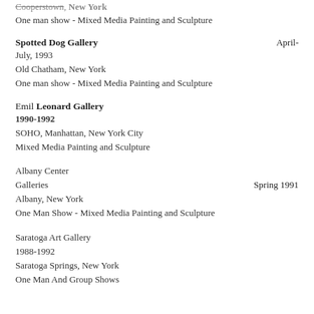Cooperstown, New York
One man show - Mixed Media Painting and Sculpture
Spotted Dog Gallery                                           April-July, 1993
Old Chatham, New York
One man show - Mixed Media Painting and Sculpture
Emil Leonard Gallery
1990-1992
SOHO, Manhattan, New York City
Mixed Media Painting and Sculpture
Albany Center Galleries                                       Spring 1991
Albany, New York
One Man Show - Mixed Media Painting and Sculpture
Saratoga Art Gallery
1988-1992
Saratoga Springs, New York
One Man And Group Shows